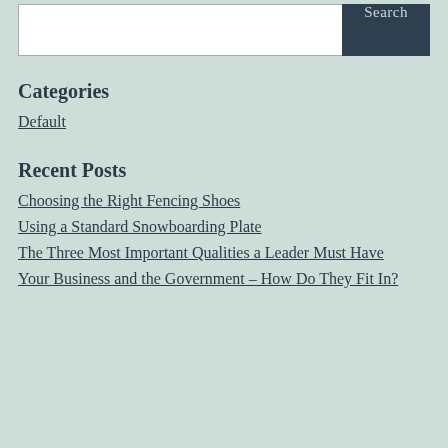[Figure (screenshot): Search bar with white input field and dark 'Search' button]
Categories
Default
Recent Posts
Choosing the Right Fencing Shoes
Using a Standard Snowboarding Plate
The Three Most Important Qualities a Leader Must Have
Your Business and the Government – How Do They Fit In?